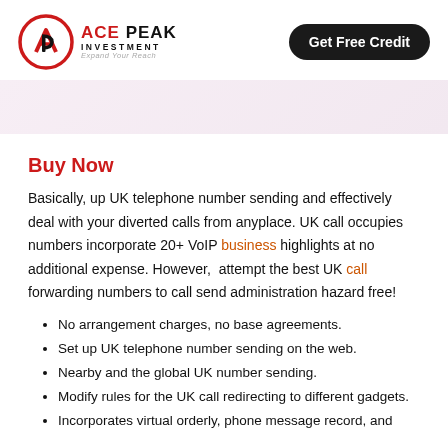[Figure (logo): Ace Peak Investment logo with red and black circular icon and text 'ACE PEAK INVESTMENT — Expand Your Reach']
Get Free Credit
[Figure (illustration): Light pink/purple banner image strip]
Buy Now
Basically, up UK telephone number sending and effectively deal with your diverted calls from anyplace. UK call occupies numbers incorporate 20+ VoIP business highlights at no additional expense. However, attempt the best UK call forwarding numbers to call send administration hazard free!
No arrangement charges, no base agreements.
Set up UK telephone number sending on the web.
Nearby and the global UK number sending.
Modify rules for the UK call redirecting to different gadgets.
Incorporates virtual orderly, phone message record, and